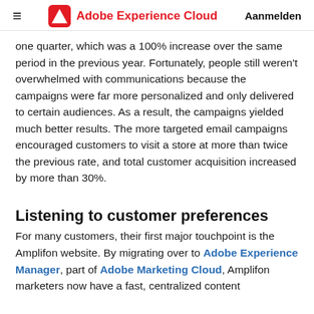Adobe Experience Cloud  Aanmelden
one quarter, which was a 100% increase over the same period in the previous year. Fortunately, people still weren't overwhelmed with communications because the campaigns were far more personalized and only delivered to certain audiences. As a result, the campaigns yielded much better results. The more targeted email campaigns encouraged customers to visit a store at more than twice the previous rate, and total customer acquisition increased by more than 30%.
Listening to customer preferences
For many customers, their first major touchpoint is the Amplifon website. By migrating over to Adobe Experience Manager, part of Adobe Marketing Cloud, Amplifon marketers now have a fast, centralized content